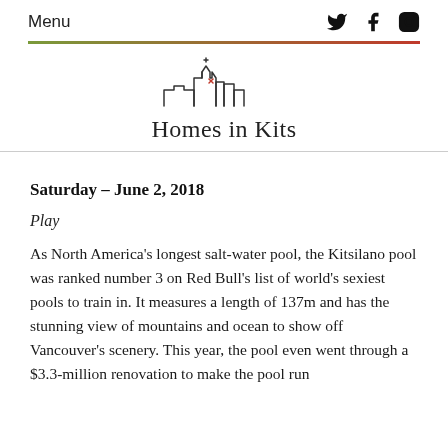Menu
[Figure (logo): Homes in Kits logo with stylized cityscape roofline silhouette above the text 'Homes in Kits']
Saturday – June 2, 2018
Play
As North America's longest salt-water pool, the Kitsilano pool was ranked number 3 on Red Bull's list of world's sexiest pools to train in. It measures a length of 137m and has the stunning view of mountains and ocean to show off Vancouver's scenery. This year, the pool even went through a $3.3-million renovation to make the pool run